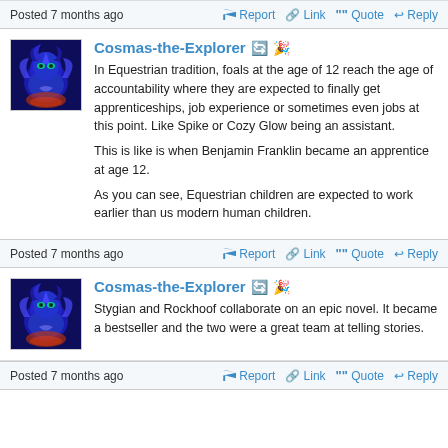Posted 7 months ago   Report   Link   Quote   Reply
Cosmas-the-Explorer
In Equestrian tradition, foals at the age of 12 reach the age of accountability where they are expected to finally get apprenticeships, job experience or sometimes even jobs at this point. Like Spike or Cozy Glow being an assistant.

This is like is when Benjamin Franklin became an apprentice at age 12.

As you can see, Equestrian children are expected to work earlier than us modern human children.
Posted 7 months ago   Report   Link   Quote   Reply
Cosmas-the-Explorer
Stygian and Rockhoof collaborate on an epic novel. It became a bestseller and the two were a great team at telling stories.
Posted 7 months ago   Report   Link   Quote   Reply